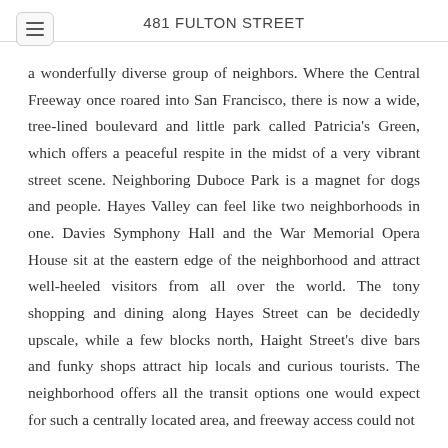481 FULTON STREET
a wonderfully diverse group of neighbors. Where the Central Freeway once roared into San Francisco, there is now a wide, tree-lined boulevard and little park called Patricia's Green, which offers a peaceful respite in the midst of a very vibrant street scene. Neighboring Duboce Park is a magnet for dogs and people. Hayes Valley can feel like two neighborhoods in one. Davies Symphony Hall and the War Memorial Opera House sit at the eastern edge of the neighborhood and attract well-heeled visitors from all over the world. The tony shopping and dining along Hayes Street can be decidedly upscale, while a few blocks north, Haight Street's dive bars and funky shops attract hip locals and curious tourists. The neighborhood offers all the transit options one would expect for such a centrally located area, and freeway access could not